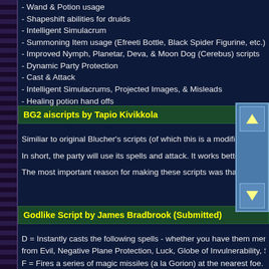- Wand & Potion usage
- Shapeshift abilities for druids
- Intelligent Simulacrum
- Summoning Item usage (Efreeti Bottle, Black Spider Figurine, etc.)
- Improved Nymph, Planetar, Deva, & Moon Dog (Cerebus) scripts
- Dynamic Party Protection
- Cast & Attack
- Intelligent Simulacrums, Projected Images, & Misleads
- Healing potion hand offs
BG2 aiscripts by Tapio Kivikkola
Similiar to original Blucher's scripts (of which this is a modification), b and most of area spells are removed.
In short, the party will use its spells and attack. It works better than th the game or Blucher's scripts, which were using Cloudkill on an area
The most important reason for making these scripts was that that Blu long time and original ones were not working.
Godlike Script by James Bradbrook (Submitted)
D = Instantly casts the following spells - whether you have them from Evil, Negative Plane Protection, Luck, Globe of Invulnerability, S F = Fires a series of magic missiles (a la Gorion) at the nearest foe. S = Calls down lightning instantly killing your nearest foe killing them all map areas - not sure why yet.